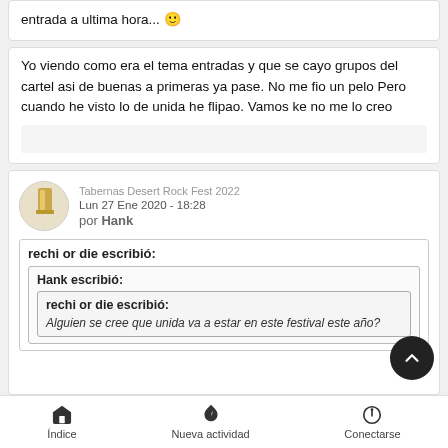entrada a ultima hora... 🙂
Yo viendo como era el tema entradas y que se cayo grupos del cartel asi de buenas a primeras ya pase. No me fio un pelo Pero cuando he visto lo de unida he flipao. Vamos ke no me lo creo
Tabernas Desert Rock Fest 2022
Lun 27 Ene 2020 - 18:28
por Hank
rechi or die escribió:
Hank escribió:
rechi or die escribió:
Alguien se cree que unida va a estar en este festival este año?
Índice   Nueva actividad   Conectarse